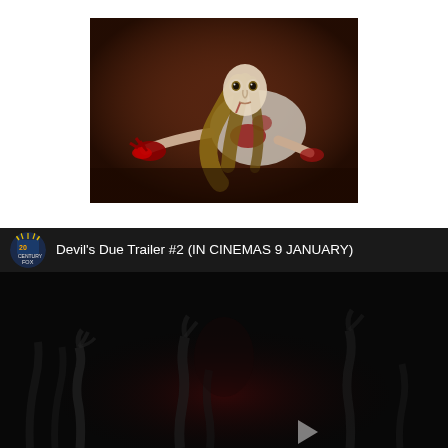[Figure (photo): Movie still from Devil's Due showing a young woman with long hair wearing a blood-stained white dress, crouching on a dark floor with bloodied hands, looking up at the camera with wide frightened eyes. Dark brown/red background.]
[Figure (screenshot): YouTube video player embed showing 'Devil's Due Trailer #2 (IN CINEMAS 9 JANUARY)' with 20th Century Fox logo circle avatar on the left, white text title on dark header. Video content area shows dark horror imagery with shadowy figures. Play button triangle visible at bottom right.]